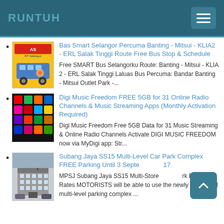RUNTUH
Bas Smart Selangor Percuma Banting - Mitsui - KLIA2 - ERL Salak Tinggi Route Free Bus Stop & Schedule
Free SMART Bus Selangorku Route: Banting - Mitsui - KLIA 2 - ERL Salak Tinggi Laluas Bus Percuma: Bandar Banting - Mitsui Outlet Park -...
Digi Music Freedom FREE 5GB for 31 Online Radio Channels & Music Streaming Apps (Monthly Activation Required)
Digi Music Freedom Free 5GB Data for 31 Music Streaming & Online Radio Channels  Activate DIGI MUSIC FREEDOM now via MyDigi app: Str...
Subang Jaya SS15 Multi-Level Car Park Complex FREE Parking Until 3 September 2017
MPSJ Subang Jaya SS15 Multi-Storey Car Park Parking Rates MOTORISTS will be able to use the newly completed multi-level parking complex ...